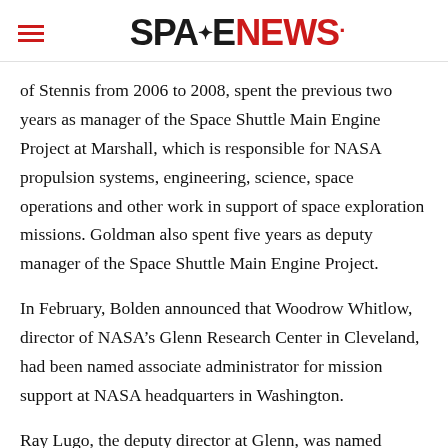SPACENEWS
of Stennis from 2006 to 2008, spent the previous two years as manager of the Space Shuttle Main Engine Project at Marshall, which is responsible for NASA propulsion systems, engineering, science, space operations and other work in support of space exploration missions. Goldman also spent five years as deputy manager of the Space Shuttle Main Engine Project.
In February, Bolden announced that Woodrow Whitlow, director of NASA’s Glenn Research Center in Cleveland, had been named associate administrator for mission support at NASA headquarters in Washington.
Ray Lugo, the deputy director at Glenn, was named acting director, according to the March 1...